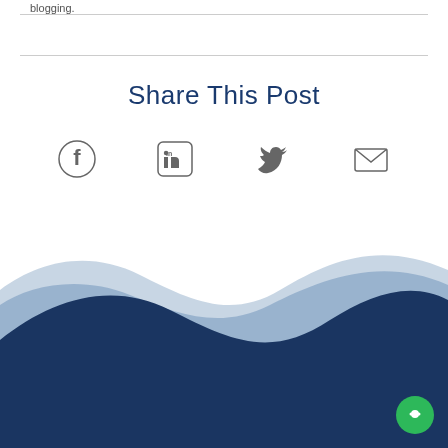blogging.
Share This Post
[Figure (illustration): Four social sharing icons: Facebook, LinkedIn, Twitter, and Email arranged in a horizontal row]
[Figure (illustration): Decorative wave graphic with layered blue waves (light blue, medium blue, dark navy) forming a footer background]